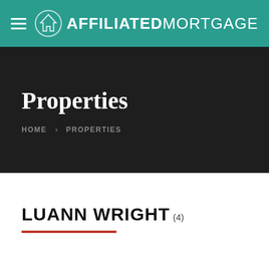AFFILIATED MORTGAGE
Properties
HOME  PROPERTIES
LUANN WRIGHT (4)
ALL  FOR SALE